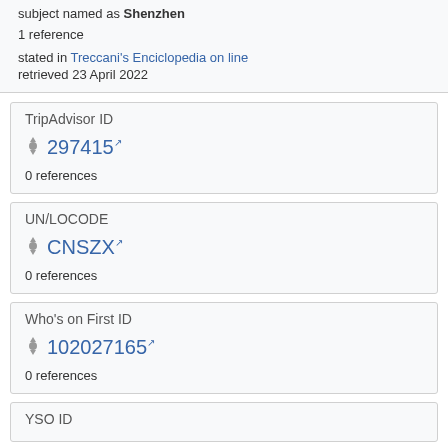subject named as Shenzhen
1 reference
stated in Treccani's Enciclopedia on line
retrieved 23 April 2022
TripAdvisor ID
297415
0 references
UN/LOCODE
CNSZX
0 references
Who's on First ID
102027165
0 references
YSO ID